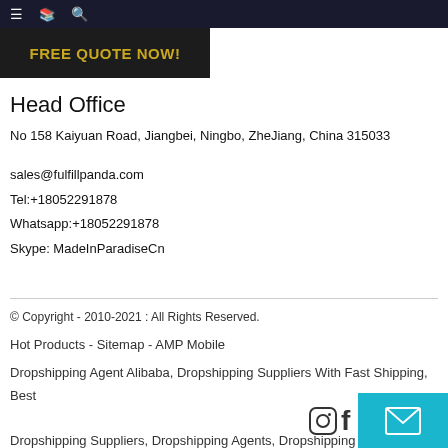≡  📋  🔍
[Figure (other): Dark banner with gold bold text FREE QUOTE NOW!]
Head Office
No 158 Kaiyuan Road, Jiangbei, Ningbo, ZheJiang, China 315033
sales@fulfillpanda.com
Tel:+18052291878
Whatsapp:+18052291878
Skype: MadeInParadiseCn
© Copyright - 2010-2021 : All Rights Reserved.
Hot Products - Sitemap - AMP Mobile
Dropshipping Agent Alibaba, Dropshipping Suppliers With Fast Shipping, Best Dropshipping Suppliers, Dropshipping Agents, Dropshipping Suppliers, Dropshipping Agent China,